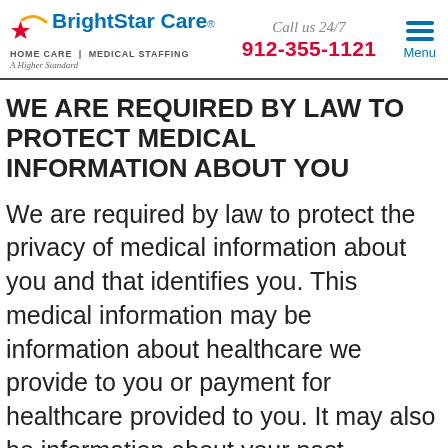BrightStar Care® HOME CARE | MEDICAL STAFFING A Higher Standard | Call us 24/7 912-355-1121 | Menu
WE ARE REQUIRED BY LAW TO PROTECT MEDICAL INFORMATION ABOUT YOU
We are required by law to protect the privacy of medical information about you and that identifies you. This medical information may be information about healthcare we provide to you or payment for healthcare provided to you. It may also be information about your past, present, or future medical condition.